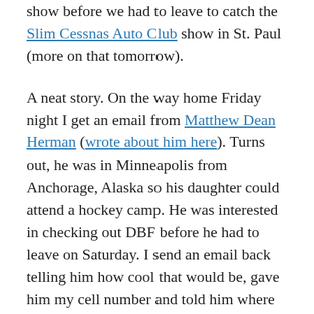show before we had to leave to catch the Slim Cessnas Auto Club show in St. Paul (more on that tomorrow).
A neat story. On the way home Friday night I get an email from Matthew Dean Herman (wrote about him here). Turns out, he was in Minneapolis from Anchorage, Alaska so his daughter could attend a hockey camp. He was interested in checking out DBF before he had to leave on Saturday. I send an email back telling him how cool that would be, gave him my cell number and told him where we were staying. Turns out he was staying literally 4 doors down from us. It's a small world indeed